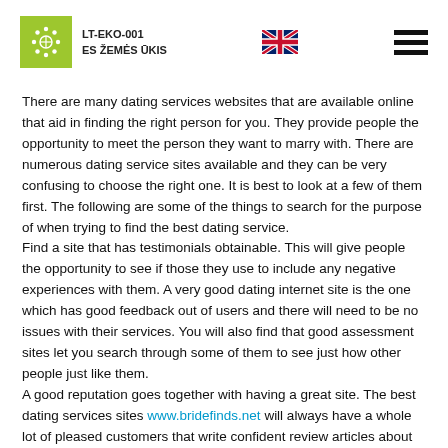LT-EKO-001 ES ŽEMĖS ŪKIS
There are many dating services websites that are available online that aid in finding the right person for you. They provide people the opportunity to meet the person they want to marry with. There are numerous dating service sites available and they can be very confusing to choose the right one. It is best to look at a few of them first. The following are some of the things to search for the purpose of when trying to find the best dating service.
Find a site that has testimonials obtainable. This will give people the opportunity to see if those they use to include any negative experiences with them. A very good dating internet site is the one which has good feedback out of users and there will need to be no issues with their services. You will also find that good assessment sites let you search through some of them to see just how other people just like them.
A good reputation goes together with having a great site. The best dating services sites www.bridefinds.net will always have a whole lot of pleased customers that write confident review articles about the service they will used. Crucial read what the previous buyers are